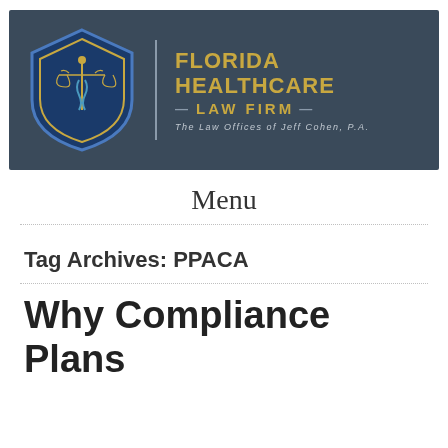[Figure (logo): Florida Healthcare Law Firm logo — dark slate background with a blue and gold shield containing scales of justice and caduceus, dividing line, and golden text reading FLORIDA HEALTHCARE LAW FIRM, The Law Offices of Jeff Cohen, P.A.]
Menu
Tag Archives: PPACA
Why Compliance Plans